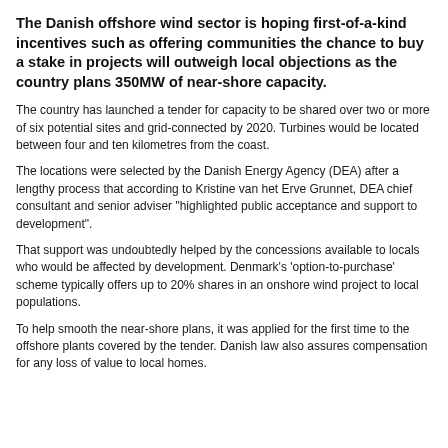The Danish offshore wind sector is hoping first-of-a-kind incentives such as offering communities the chance to buy a stake in projects will outweigh local objections as the country plans 350MW of near-shore capacity.
The country has launched a tender for capacity to be shared over two or more of six potential sites and grid-connected by 2020. Turbines would be located between four and ten kilometres from the coast.
The locations were selected by the Danish Energy Agency (DEA) after a lengthy process that according to Kristine van het Erve Grunnet, DEA chief consultant and senior adviser "highlighted public acceptance and support to development".
That support was undoubtedly helped by the concessions available to locals who would be affected by development. Denmark's 'option-to-purchase' scheme typically offers up to 20% shares in an onshore wind project to local populations.
To help smooth the near-shore plans, it was applied for the first time to the offshore plants covered by the tender. Danish law also assures compensation for any loss of value to local homes.